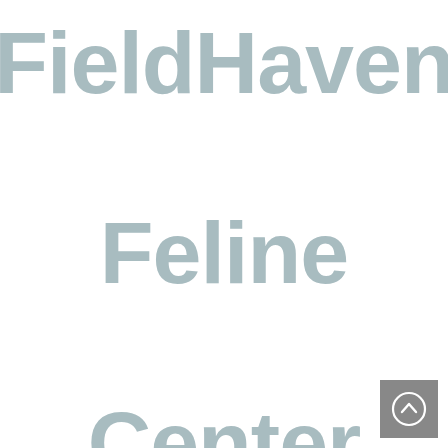About FieldHaven Feline Center
[Figure (other): Scroll-to-top button icon — grey square with a circle containing an upward chevron arrow]